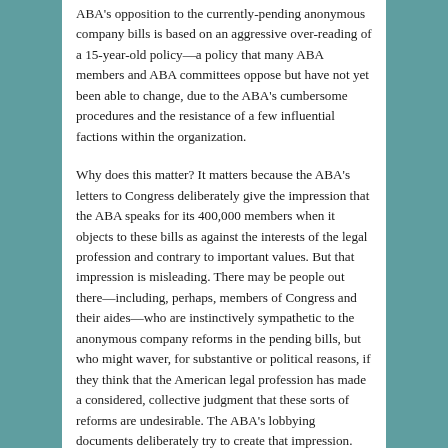ABA's opposition to the currently-pending anonymous company bills is based on an aggressive over-reading of a 15-year-old policy—a policy that many ABA members and ABA committees oppose but have not yet been able to change, due to the ABA's cumbersome procedures and the resistance of a few influential factions within the organization.
Why does this matter? It matters because the ABA's letters to Congress deliberately give the impression that the ABA speaks for its 400,000 members when it objects to these bills as against the interests of the legal profession and contrary to important values. But that impression is misleading. There may be people out there—including, perhaps, members of Congress and their aides—who are instinctively sympathetic to the anonymous company reforms in the pending bills, but who might waver, for substantive or political reasons, if they think that the American legal profession has made a considered, collective judgment that these sorts of reforms are undesirable. The ABA's lobbying documents deliberately try to create that impression. But it's not really